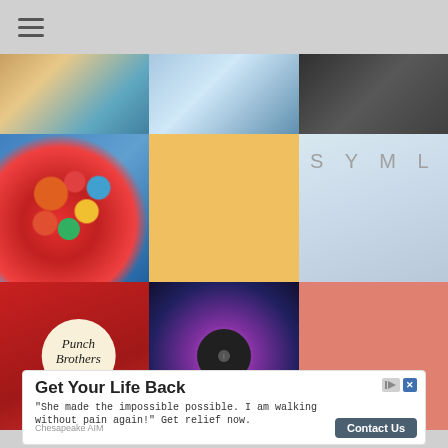[Figure (screenshot): Mobile app navigation bar with hamburger menu icon]
[Figure (photo): Grid of music album covers arranged in 3 columns and 3 rows: blurred bokeh, sky/clouds, dark concert scene (row 1); colorful floral heart, person in blue jacket with yellow hat, SYML album cover with dried plants (row 2); Punch Brothers All Ashore album cover, psychedelic purple swirling face with vinyl record, woman in red floral headpiece (row 3)]
[Figure (screenshot): Advertisement banner reading 'Get Your Life Back' with tagline about pain relief, from Chesapeake AIM with Contact Us button]